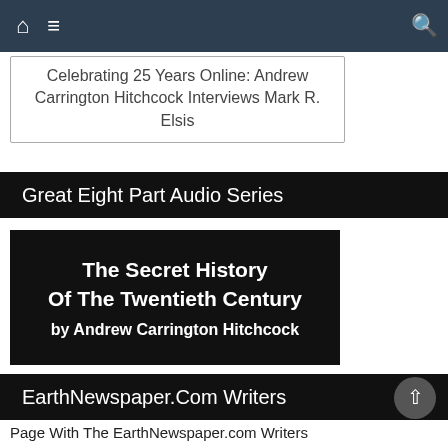Navigation bar with home, menu, and search icons
Celebrating 25 Years Online: Andrew Carrington Hitchcock Interviews Mark R. Elsis
Great Eight Part Audio Series
[Figure (other): Black promotional box with title 'The Secret History Of The Twentieth Century by Andrew Carrington Hitchcock']
EarthNewspaper.Com Writers
Page With The EarthNewspaper.com Writers